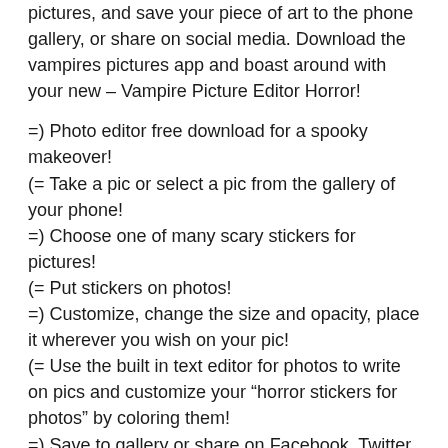pictures, and save your piece of art to the phone gallery, or share on social media. Download the vampires pictures app and boast around with your new – Vampire Picture Editor Horror!
=) Photo editor free download for a spooky makeover!
(= Take a pic or select a pic from the gallery of your phone!
=) Choose one of many scary stickers for pictures!
(= Put stickers on photos!
=) Customize, change the size and opacity, place it wherever you wish on your pic!
(= Use the built in text editor for photos to write on pics and customize your “horror stickers for photos” by coloring them!
=) Save to gallery or share on Facebook, Twitter or Instagram!
(= Get the best horror camera effects app for free!
Do not hesitate, download Vampire Picture Editor Horror and you will make your smartphone or tablet richer for one of the